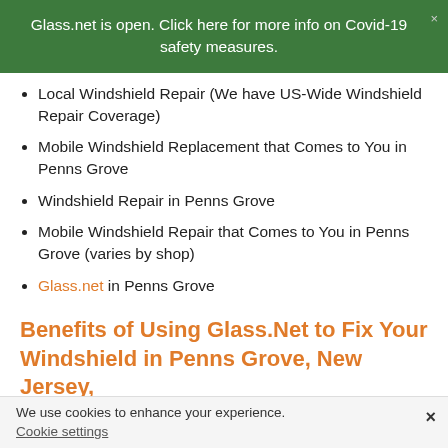Glass.net is open. Click here for more info on Covid-19 safety measures.
Local Windshield Repair (We have US-Wide Windshield Repair Coverage)
Mobile Windshield Replacement that Comes to You in Penns Grove
Windshield Repair in Penns Grove
Mobile Windshield Repair that Comes to You in Penns Grove (varies by shop)
Glass.net in Penns Grove
Benefits of Using Glass.Net to Fix Your Windshield in Penns Grove, New Jersey,
Free Penns Grove, New Jersey, auto glass quotes for
We use cookies to enhance your experience.
Cookie settings